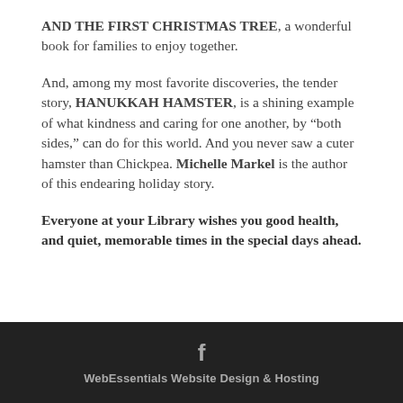AND THE FIRST CHRISTMAS TREE, a wonderful book for families to enjoy together.
And, among my most favorite discoveries, the tender story, HANUKKAH HAMSTER, is a shining example of what kindness and caring for one another, by “both sides,” can do for this world. And you never saw a cuter hamster than Chickpea. Michelle Markel is the author of this endearing holiday story.
Everyone at your Library wishes you good health, and quiet, memorable times in the special days ahead.
WebEssentials Website Design & Hosting